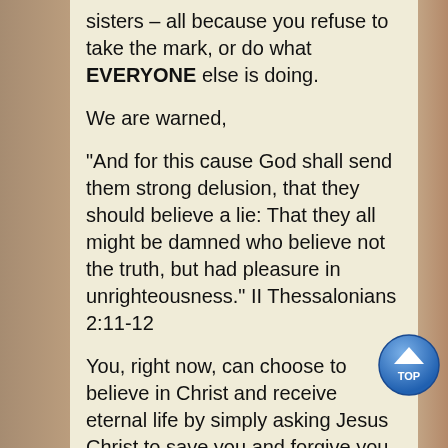sisters – all because you refuse to take the mark, or do what EVERYONE else is doing.
We are warned,
"And for this cause God shall send them strong delusion, that they should believe a lie: That they all might be damned who believe not the truth, but had pleasure in unrighteousness." II Thessalonians 2:11-12
You, right now, can choose to believe in Christ and receive eternal life by simply asking Jesus Christ to save you and forgive you of all your sins. If you ask Christ to save you, He certainly will, and
[Figure (illustration): Blue circular button with upward-pointing triangle arrow and text 'TOP' underneath, used as a scroll-to-top navigation button]